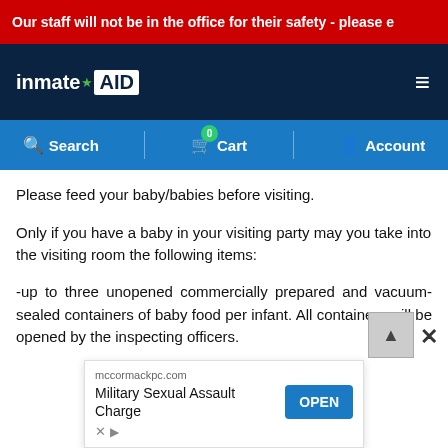Our staff will not be in the office for their safety - please e
[Figure (logo): InmateAID logo with hamburger menu on dark navy background]
[Figure (screenshot): Blue navigation bar with Search, Cart (0), and Account icons]
Please feed your baby/babies before visiting.
Only if you have a baby in your visiting party may you take into the visiting room the following items:
-up to three unopened commercially prepared and vacuum-sealed containers of baby food per infant. All containers will be opened by the inspecting officers.
[Figure (screenshot): Advertisement for mccormackpc.com - Military Sexual Assault Charge with OPEN button]